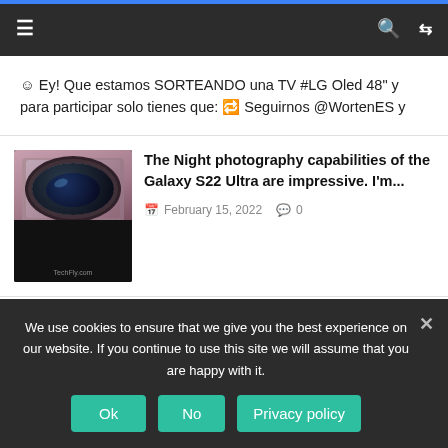Navigation bar with hamburger menu, search and shuffle icons
☺ Ey! Que estamos SORTEANDO una TV #LG Oled 48" y para participar solo tienes que: 🔁 Seguirnos @WortenES y
[Figure (photo): Close-up photo of a smartphone camera lens, likely Samsung Galaxy S22 Ultra, showing circular lens with pink/mauve outer ring]
The Night photography capabilities of the Galaxy S22 Ultra are impressive. I'm...
February 15, 2022  0
[Figure (photo): Xiaomi Mi Smart Band device thumbnail image]
Xiaomi Mi Smart Band Lien : ...
We use cookies to ensure that we give you the best experience on our website. If you continue to use this site we will assume that you are happy with it.
Ok  No  Privacy policy